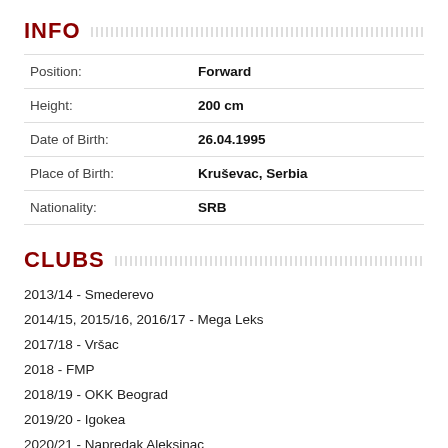INFO
| Field | Value |
| --- | --- |
| Position: | Forward |
| Height: | 200 cm |
| Date of Birth: | 26.04.1995 |
| Place of Birth: | Kruševac, Serbia |
| Nationality: | SRB |
CLUBS
2013/14 - Smederevo
2014/15, 2015/16, 2016/17 - Mega Leks
2017/18 - Vršac
2018 - FMP
2018/19 - OKK Beograd
2019/20 - Igokea
2020/21 - Napredak Aleksinac
2020/21 - Borac Banja Luka